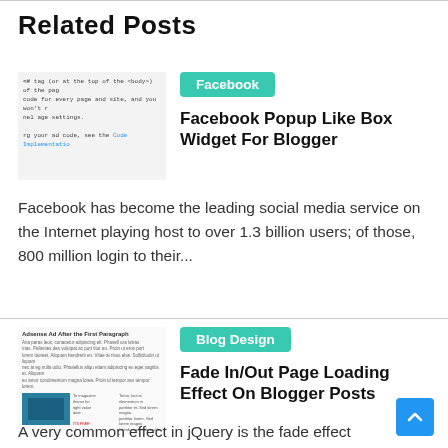Related Posts
[Figure (screenshot): Screenshot of a webpage showing code/text about tag implementation]
Facebook
Facebook Popup Like Box Widget For Blogger
Facebook has become the leading social media service on the Internet playing host to over 1.3 billion users; of those, 800 million login to their...
[Figure (screenshot): Screenshot of a blog post about Adsense Ad After the First Paragraph with blog theme preview]
Blog Design
Fade In/Out Page Loading Effect On Blogger Posts
A very common effect in jQuery is the fade effect